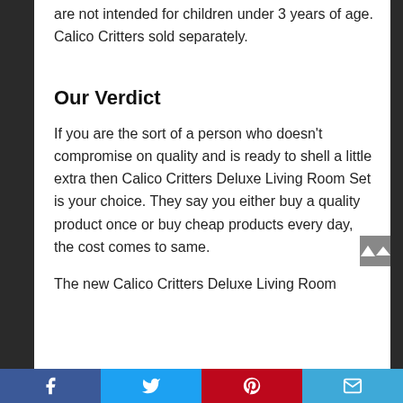are not intended for children under 3 years of age. Calico Critters sold separately.
Our Verdict
If you are the sort of a person who doesn't compromise on quality and is ready to shell a little extra then Calico Critters Deluxe Living Room Set is your choice. They say you either buy a quality product once or buy cheap products every day, the cost comes to same.
The new Calico Critters Deluxe Living Room
Facebook Twitter Pinterest Email